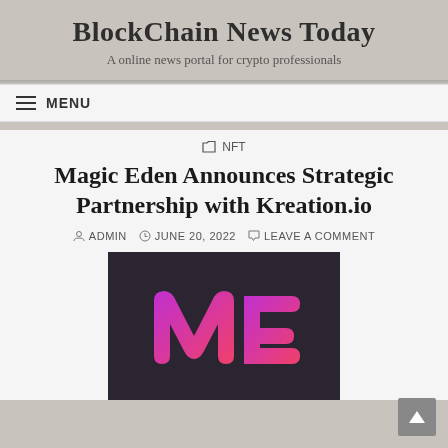BlockChain News Today
A online news portal for crypto professionals
MENU
NFT
Magic Eden Announces Strategic Partnership with Kreation.io
ADMIN  JUNE 20, 2022  LEAVE A COMMENT
[Figure (logo): Magic Eden logo — stylized 'ME' letters in pink-to-purple gradient on dark background]